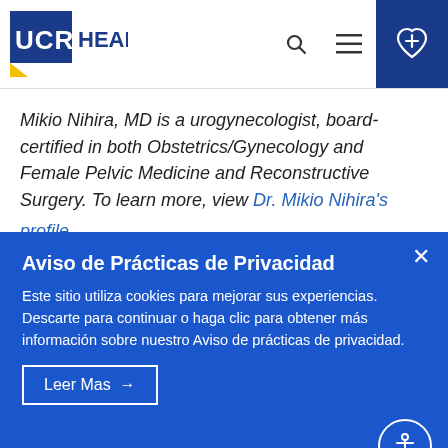UCR HEALTH
Mikio Nihira, MD is a urogynecologist, board-certified in both Obstetrics/Gynecology and Female Pelvic Medicine and Reconstructive Surgery. To learn more, view Dr. Mikio Nihira's profile
Aviso de Prácticas de Privacidad
Este sitio utiliza cookies para mejorar sus experiencias. Descarte para continuar o haga clic para obtener más información sobre nuestro Aviso de prácticas de privacidad.
Leer Mas →